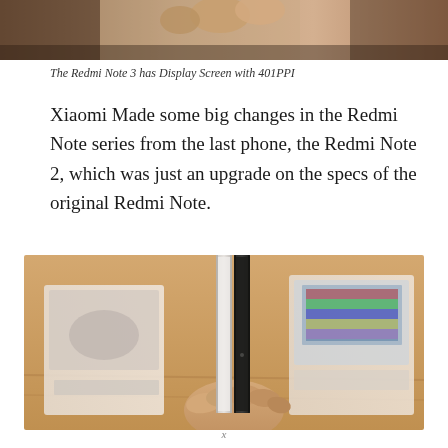[Figure (photo): Close-up photo of hands holding a smartphone, partial view cropped at top of page]
The Redmi Note 3 has Display Screen with 401PPI
Xiaomi Made some big changes in the Redmi Note series from the last phone, the Redmi Note 2, which was just an upgrade on the specs of the original Redmi Note.
[Figure (photo): Photo of a person holding two slim smartphones side by side, with Xiaomi product boxes visible in the background on a wooden surface]